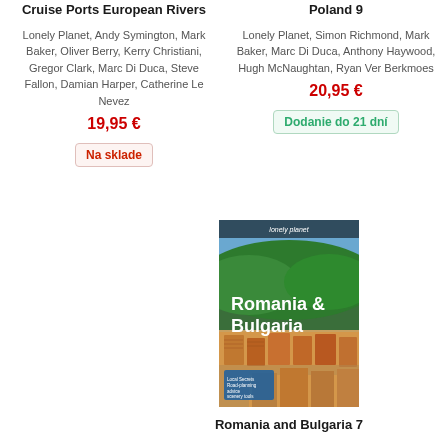Cruise Ports European Rivers
Lonely Planet, Andy Symington, Mark Baker, Oliver Berry, Kerry Christiani, Gregor Clark, Marc Di Duca, Steve Fallon, Damian Harper, Catherine Le Nevez
19,95 €
Na sklade
Poland 9
Lonely Planet, Simon Richmond, Mark Baker, Marc Di Duca, Anthony Haywood, Hugh McNaughtan, Ryan Ver Berkmoes
20,95 €
Dodanie do 21 dní
[Figure (illustration): Book cover of Lonely Planet Romania & Bulgaria travel guide, showing aerial view of a European city with red-roofed buildings and green hills]
Romania and Bulgaria 7